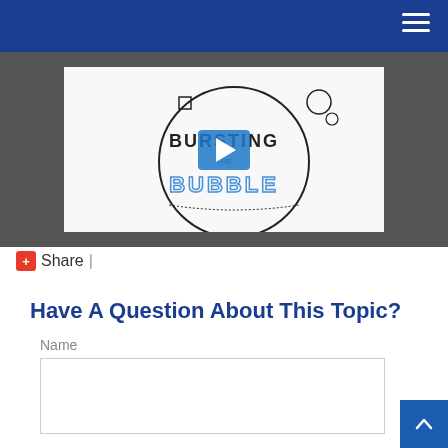Navigation header with hamburger menu
[Figure (screenshot): Video thumbnail showing a hand-drawn illustration with the text BURSTING THE BUBBLE and a play button overlay on a dark gray background]
+ Share |
Have A Question About This Topic?
Name
[Name input field]